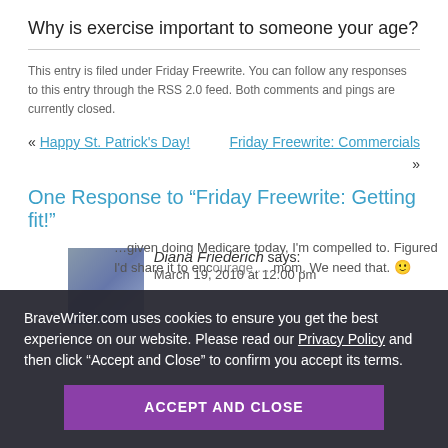Why is exercise important to someone your age?
This entry is filed under Friday Freewrite. You can follow any responses to this entry through the RSS 2.0 feed. Both comments and pings are currently closed.
« Happy St. Patrick's Day!   Friday Freewrite: Commercials »
One Response to “Friday Freewrite: Getting fit!”
1. Diana Friederich says: March 19, 2010 at 12:00 pm
BraveWriter.com uses cookies to ensure you get the best experience on our website. Please read our Privacy Policy and then click “Accept and Close” to confirm you accept its terms.